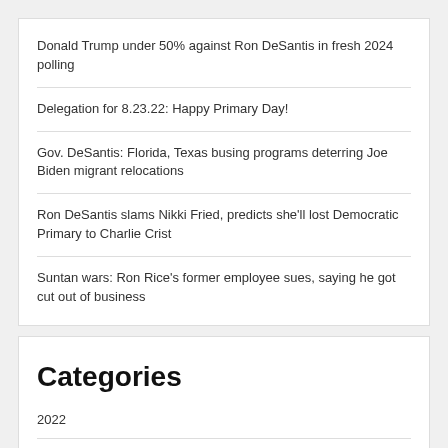Donald Trump under 50% against Ron DeSantis in fresh 2024 polling
Delegation for 8.23.22: Happy Primary Day!
Gov. DeSantis: Florida, Texas busing programs deterring Joe Biden migrant relocations
Ron DeSantis slams Nikki Fried, predicts she'll lost Democratic Primary to Charlie Crist
Suntan wars: Ron Rice's former employee sues, saying he got cut out of business
Categories
2022
2022 – Congressional
2022 – Legislative